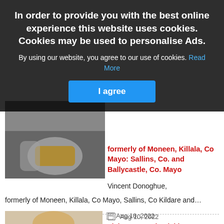In order to provide you with the best online experience this website uses cookies. Cookies may be used to personalise Ads.
By using our website, you agree to our use of cookies. Read More
I agree
[Figure (photo): Close-up photo of hands, partially obscured]
formerly of Moneen, Killala, Co Mayo: Sallins, Co. and Ballycastle, Co. Mayo
Vincent Donoghue,
formerly of Moneen, Killala, Co Mayo, Sallins, Co Kildare and…
Aug 10, 2022
Claire O'Hora (Walsh), 15 Abbeytown, Crossmolina, Co. Mayo and formerly of Tubridge, Keenagh
[Figure (photo): Portrait photo of an elderly woman with glasses, short grey-blonde hair, smiling, wearing a floral top]
Claire O'Hora (Walsh),
15 Abbeytown, Crossmolina,